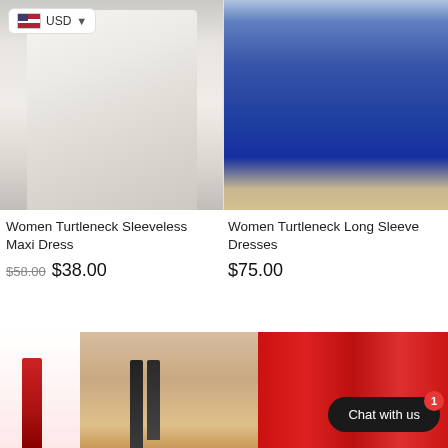[Figure (photo): Woman wearing a white textured turtleneck sleeveless maxi dress]
[Figure (photo): Woman wearing a royal blue long-sleeve sequin dress with side slit]
USD dropdown currency selector with US flag
Women Turtleneck Sleeveless Maxi Dress
$58.00  $38.00
Women Turtleneck Long Sleeve Dresses
$75.00
[Figure (photo): Red lipstick product]
[Figure (photo): Woman's face with makeup close-up]
[Figure (photo): Red lipstick swatches and lip products]
Chat with us